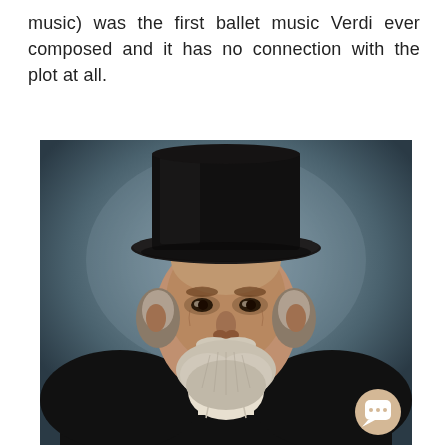music) was the first ballet music Verdi ever composed and it has no connection with the plot at all.
[Figure (photo): Colorized portrait photograph of Giuseppe Verdi, an elderly man wearing a black top hat and dark coat with white cravat/necktie, with white beard and mustache, stern expression, against a grey background. A small chat button icon appears in the bottom right corner of the image.]